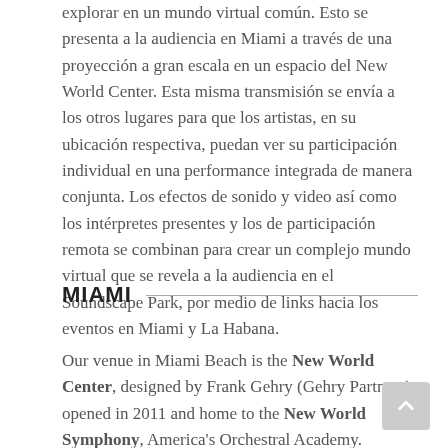explorar en un mundo virtual común. Esto se presenta a la audiencia en Miami a través de una proyección a gran escala en un espacio del New World Center. Esta misma transmisión se envía a los otros lugares para que los artistas, en su ubicación respectiva, puedan ver su participación individual en una performance integrada de manera conjunta. Los efectos de sonido y video así como los intérpretes presentes y los de participación remota se combinan para crear un complejo mundo virtual que se revela a la audiencia en el Soundscape Park, por medio de links hacia los eventos en Miami y La Habana.
MIAMI
Our venue in Miami Beach is the New World Center, designed by Frank Gehry (Gehry Partners), opened in 2011 and home to the New World Symphony, America's Orchestral Academy.